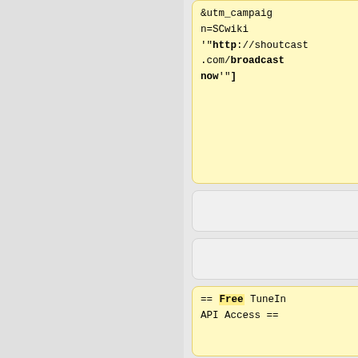&utm_campaign=SCwiki "http://shoutcast.com/broadcastnow"]
== Free TuneIn API Access ==
== TuneIn API Access ==
All stations who participate in SHOUTcast's Revenue and Streaming Solutions can use the TuneIn's API (AirAPI), which helps grow your audience.
All Shoutcast For Business (SC4B / Streaming Service v2) stations can use TuneIn's Air API, which helps grow your audience. TuneIn displays